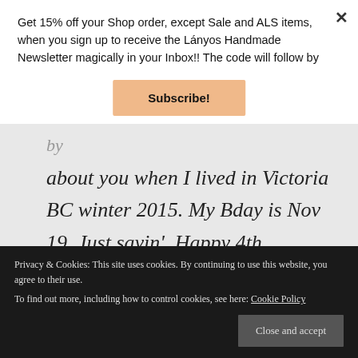Get 15% off your Shop order, except Sale and ALS items, when you sign up to receive the Lányos Handmade Newsletter magically in your Inbox!! The code will follow by
Subscribe!
by about you when I lived in Victoria BC winter 2015. My Bday is Nov 19. Just sayin'. Happy 4th . Looking forward to the next 4 years.
Privacy & Cookies: This site uses cookies. By continuing to use this website, you agree to their use. To find out more, including how to control cookies, see here: Cookie Policy
Close and accept